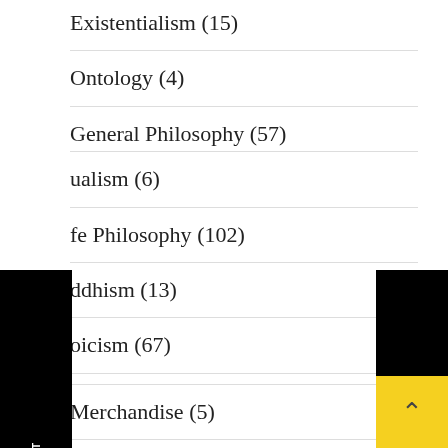Existentialism (15)
Ontology (4)
General Philosophy (57)
ualism (6)
fe Philosophy (102)
ddhism (13)
oicism (67)
Merchandise (5)
Mystic Philosophy (24)